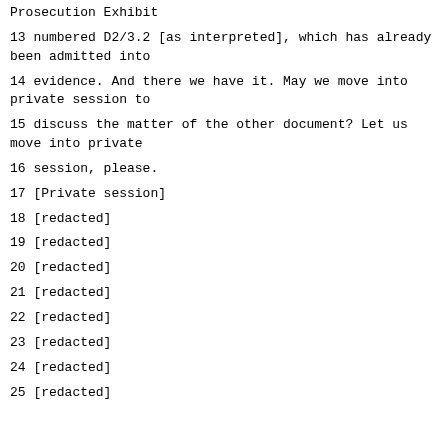Prosecution Exhibit
13 numbered D2/3.2 [as interpreted], which has already been admitted into
14 evidence. And there we have it. May we move into private session to
15 discuss the matter of the other document? Let us move into private
16 session, please.
17 [Private session]
18 [redacted]
19 [redacted]
20 [redacted]
21 [redacted]
22 [redacted]
23 [redacted]
24 [redacted]
25 [redacted]